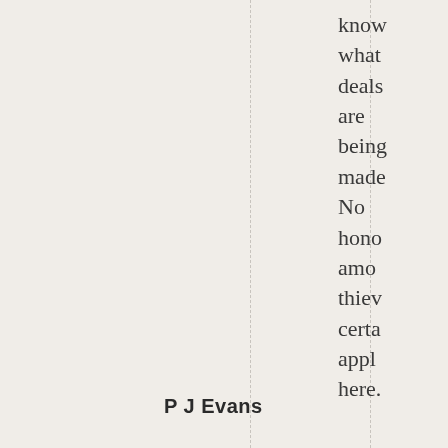know what deals are being made No honor among thiev certa appli here.
P J Evans